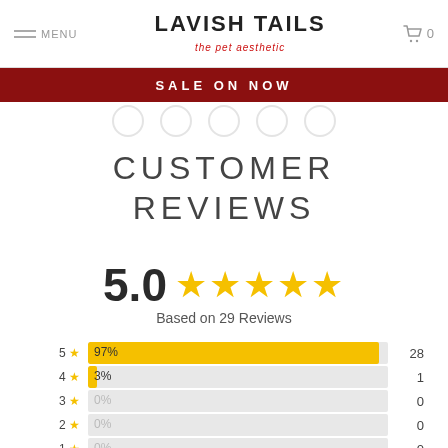LAVISH TAILS the pet aesthetic
SALE ON NOW
CUSTOMER REVIEWS
5.0 ★★★★★
Based on 29 Reviews
[Figure (bar-chart): Review rating distribution]